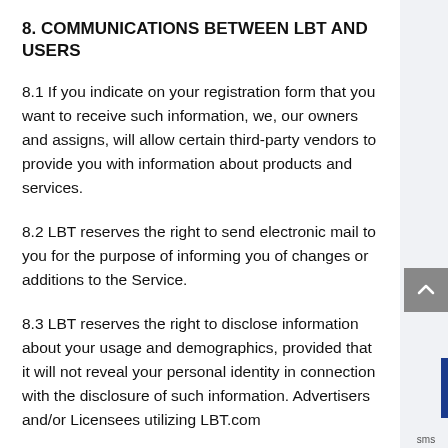8. COMMUNICATIONS BETWEEN LBT AND USERS
8.1 If you indicate on your registration form that you want to receive such information, we, our owners and assigns, will allow certain third-party vendors to provide you with information about products and services.
8.2 LBT reserves the right to send electronic mail to you for the purpose of informing you of changes or additions to the Service.
8.3 LBT reserves the right to disclose information about your usage and demographics, provided that it will not reveal your personal identity in connection with the disclosure of such information. Advertisers and/or Licensees utilizing LBT.com